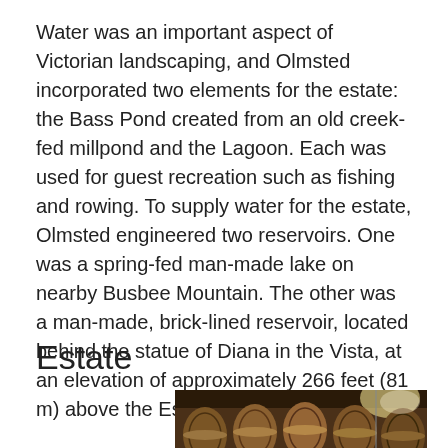Water was an important aspect of Victorian landscaping, and Olmsted incorporated two elements for the estate: the Bass Pond created from an old creek-fed millpond and the Lagoon. Each was used for guest recreation such as fishing and rowing. To supply water for the estate, Olmsted engineered two reservoirs. One was a spring-fed man-made lake on nearby Busbee Mountain. The other was a man-made, brick-lined reservoir, located behind the statue of Diana in the Vista, at an elevation of approximately 266 feet (81 m) above the Esplanade.
Estate
[Figure (photo): Photograph of wine barrels stacked on racks in a winery or cellar, showing multiple rows of wooden barrels viewed from the front.]